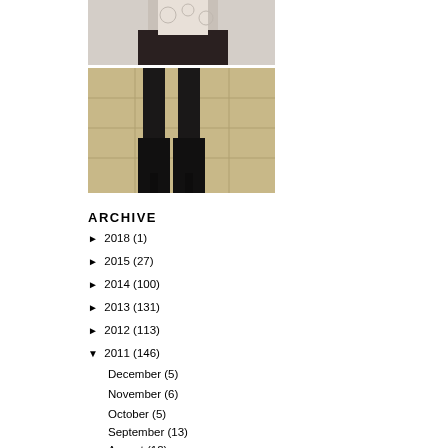[Figure (photo): Person wearing lace/patterned top with black pants, fashion photo, cropped]
[Figure (photo): Close-up of person's legs in black boots on tiled pavement]
ARCHIVE
► 2018 (1)
► 2015 (27)
► 2014 (100)
► 2013 (131)
► 2012 (113)
▼ 2011 (146)
December (5)
November (6)
October (5)
September (13)
August (12)
[Figure (photo): Turquoise and murky water meeting at shoreline, aerial or close view]
[Figure (photo): White pleated fabric or lampshade near green bamboo plants]